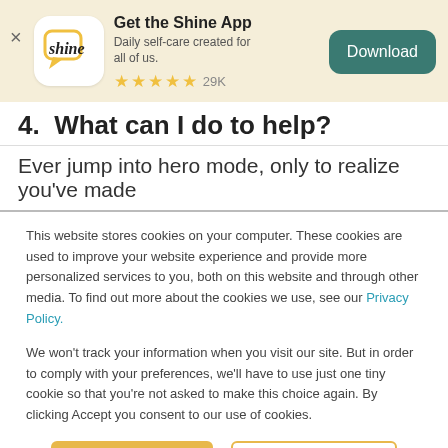[Figure (screenshot): Shine app promotional banner with logo, title 'Get the Shine App', subtitle 'Daily self-care created for all of us.', 5 gold stars with 29K reviews, and a teal Download button]
4.  What can I do to help?
Ever jump into hero mode, only to realize you've made
This website stores cookies on your computer. These cookies are used to improve your website experience and provide more personalized services to you, both on this website and through other media. To find out more about the cookies we use, see our Privacy Policy.
We won't track your information when you visit our site. But in order to comply with your preferences, we'll have to use just one tiny cookie so that you're not asked to make this choice again. By clicking Accept you consent to our use of cookies.